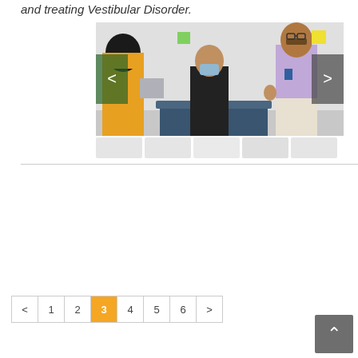and treating Vestibular Disorder.
[Figure (photo): Medical consultation scene showing a patient in black sitting on an examination table, a healthcare provider in a yellow outfit and hijab on the left, and a doctor in a purple shirt on the right, in a clinical room with sticky notes on the wall. Navigation arrows on left and right sides of the image.]
< 1 2 3 4 5 6 >